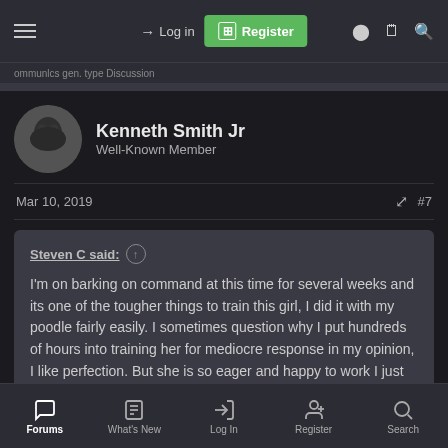Log in | Register
Kenneth Smith Jr
Well-Known Member
Mar 10, 2019  #7
Steven C said:
I'm on barking on command at this time for several weeks and its one of the tougher things to train this girl, I did it with my poodle fairly easily. I sometimes question why I put hundreds of hours into training her for mediocre response in my opinion, I like perfection. But she is so eager and happy to work I just couldn't take it away from her. I also decided to wait a little more before we buy our KNVP dog so I don't
Click to expand...
Forums | What's New | Log In | Register | Search